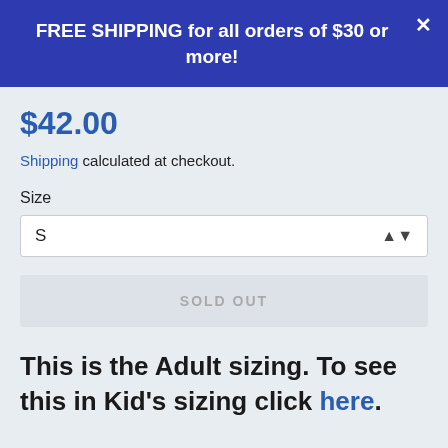FREE SHIPPING for all orders of $30 or more!
$42.00
Shipping calculated at checkout.
Size
S
SOLD OUT
This is the Adult sizing. To see this in Kid's sizing click here.